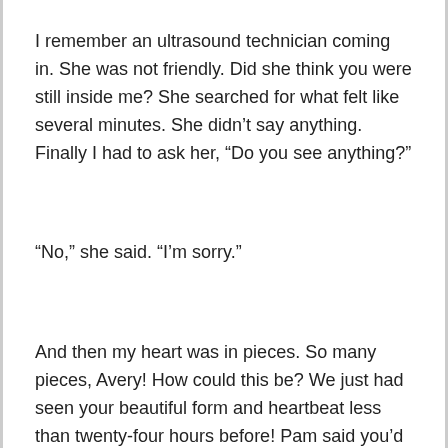I remember an ultrasound technician coming in. She was not friendly. Did she think you were still inside me? She searched for what felt like several minutes. She didn't say anything. Finally I had to ask her, “Do you see anything?”
“No,” she said. “I’m sorry.”
And then my heart was in pieces. So many pieces, Avery! How could this be? We just had seen your beautiful form and heartbeat less than twenty-four hours before! Pam said you’d be fine! What in God’s name was happening?